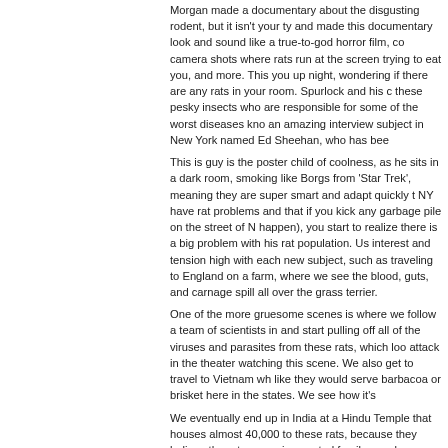Morgan made a documentary about the disgusting rodent, but it isn't your ty and made this documentary look and sound like a true-to-god horror film, co camera shots where rats run at the screen trying to eat you, and more. This you up night, wondering if there are any rats in your room. Spurlock and his these pesky insects who are responsible for some of the worst diseases kno an amazing interview subject in New York named Ed Sheehan, who has bee
This is guy is the poster child of coolness, as he sits in a dark room, smoking like Borgs from 'Star Trek', meaning they are super smart and adapt quickly t NY have rat problems and that if you kick any garbage pile on the street of N happen), you start to realize there is a big problem with his rat population. Us interest and tension high with each new subject, such as traveling to England on a farm, where we see the blood, guts, and carnage spill all over the grass terrier.
One of the more gruesome scenes is where we follow a team of scientists in and start pulling off all of the viruses and parasites from these rats, which loo attack in the theater watching this scene. We also get to travel to Vietnam wh like they would serve barbacoa or brisket here in the states. We see how it's
We eventually end up in India at a Hindu Temple that houses almost 40,000 to these rats, because they believe the rats are re-incarnated family member conjured up a -scary-as-hell documentary this Halloween season and must b most entertaining documentaries I've seen in a while, even though I had horr
HIGHLY RECOMMENDED!
Kata
I have a rule. I rate documentaries with: 7 if it is great. 6 if it is good. 5 if it is l
The reason is: Docs have lower ceilling and higher floors, because they are a (even if it is morally or factually wrong), and at most they are all edits of real l there is subjetivity and therefore not the real thing).
This one is really disgusting, and it gets to you that this is a problem that we plague, and they are ready to survive even more than we are.